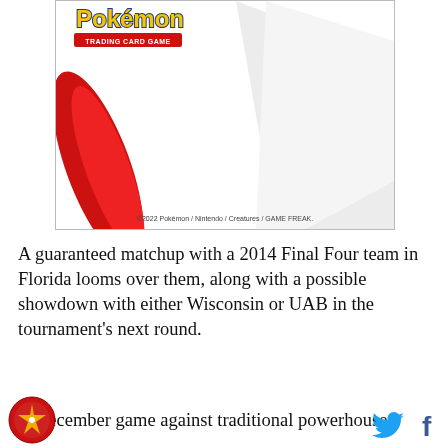[Figure (photo): Pokémon Trading Card Game product image with logo at top left and a large red diagonal shape element. Copyright text at bottom reads ©2022 Pokémon / Nintendo / Creatures / GAME FREAK.]
A guaranteed matchup with a 2014 Final Four team in Florida looms over them, along with a possible showdown with either Wisconsin or UAB in the tournament's next round.
A December game against traditional powerhouse
[Figure (logo): Circular red and gold logo in footer left]